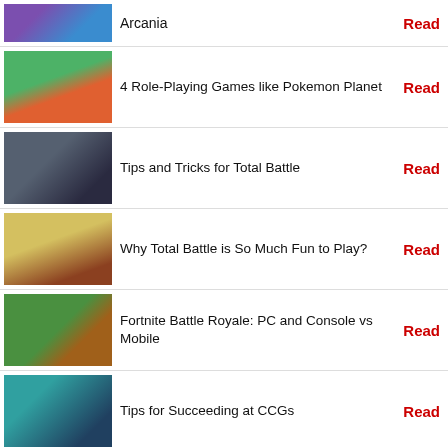Arcania | Read
4 Role-Playing Games like Pokemon Planet | Read
Tips and Tricks for Total Battle | Read
Why Total Battle is So Much Fun to Play? | Read
Fortnite Battle Royale: PC and Console vs Mobile | Read
Tips for Succeeding at CCGs | Read
How to Build Effective Decks in CCGs | Read
Tips for Succeeding in Battle Royale Games | Read
Why the Mobile Platform is